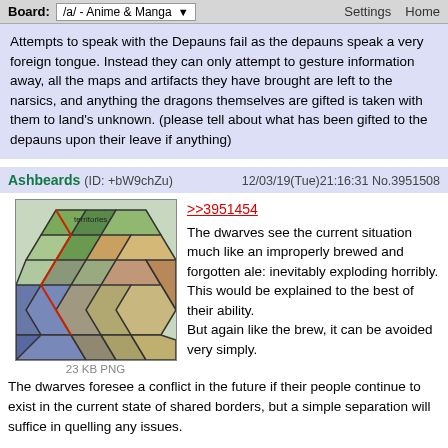Board: /a/ - Anime & Manga    Settings  Home
Attempts to speak with the Depauns fail as the depauns speak a very foreign tongue. Instead they can only attempt to gesture information away, all the maps and artifacts they have brought are left to the narsics, and anything the dragons themselves are gifted is taken with them to land's unknown. (please tell about what has been gifted to the depauns upon their leave if anything)
Ashbeards (ID: +bW9chZu)    12/03/19(Tue)21:16:31 No.3951508
[Figure (map): A hex-based strategy map showing colored territories with borders, 23 KB PNG]
>>3951454
The dwarves see the current situation much like an improperly brewed and forgotten ale: inevitably exploding horribly.
This would be explained to the best of their ability.
But again like the brew, it can be avoided very simply.
The dwarves foresee a conflict in the future if their people continue to exist in the current state of shared borders, but a simple separation will suffice in quelling any issues.

A deal is offered to the Kahro.
As both seem to seek the bounties of the woodlands, it would be unfair to simply remove on or the other from the land, but the dwarves suggest that the Kahro relocate westwards past